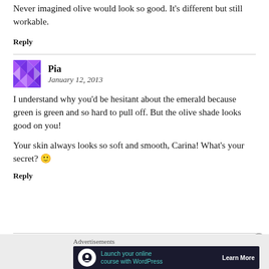Never imagined olive would look so good. It's different but still workable.
Reply
Pia
January 12, 2013
I understand why you'd be hesitant about the emerald because green is green and so hard to pull off. But the olive shade looks good on you!

Your skin always looks so soft and smooth, Carina! What's your secret? 🙂
Reply
[Figure (infographic): Advertisement banner: Launch your online course with WordPress. Learn More button. Dark background with teal text.]